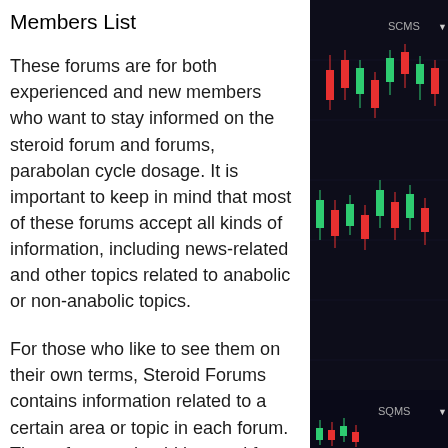Members List
These forums are for both experienced and new members who want to stay informed on the steroid forum and forums, parabolan cycle dosage. It is important to keep in mind that most of these forums accept all kinds of information, including news-related and other topics related to anabolic or non-anabolic topics.
For those who like to see them on their own terms, Steroid Forums contains information related to a certain area or topic in each forum. These forums should be used for informational and discussion purposes only. Posting is not forbidden, but posts must be in a specific forum, unless it is specifically stated otherwise, anabolism definition. It is also important to note that the main forums can be found by following the link below:
[Figure (photo): Dark background stock market candlestick chart with red and green candles, ticker labels visible at top right and bottom right]